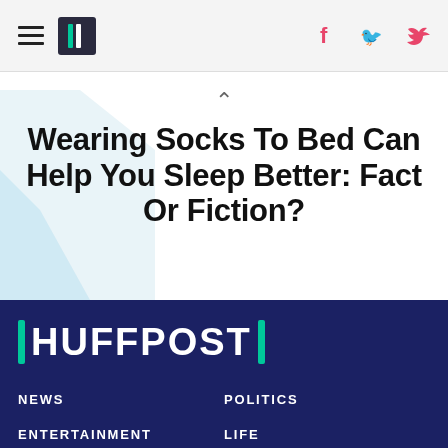HuffPost navigation bar with hamburger menu, logo, Facebook and Twitter icons
Wearing Socks To Bed Can Help You Sleep Better: Fact Or Fiction?
HUFFPOST | NEWS | POLITICS | ENTERTAINMENT | LIFE | VOICES | HUFFPOST PERSONAL | VIDEO | NEWSLETTERS